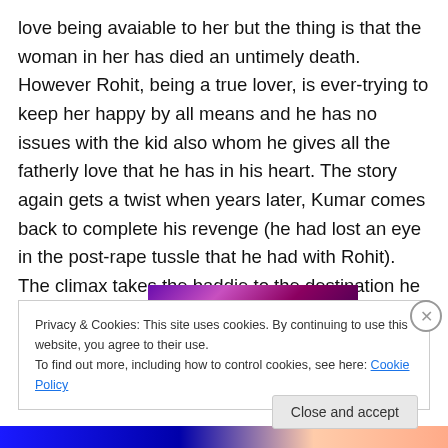love being avaiable to her but the thing is that the woman in her has died an untimely death. However Rohit, being a true lover, is ever-trying to keep her happy by all means and he has no issues with the kid also whom he gives all the fatherly love that he has in his heart. The story again gets a twist when years later, Kumar comes back to complete his revenge (he had lost an eye in the post-rape tussle that he had with Rohit). The climax takes the baddie to the destination he deserves and renders security and happiness to the aggrieved family.
[Figure (photo): Partial image strip showing a purple/pink colored scene, partially obscured by cookie banner]
Privacy & Cookies: This site uses cookies. By continuing to use this website, you agree to their use.
To find out more, including how to control cookies, see here: Cookie Policy
Close and accept